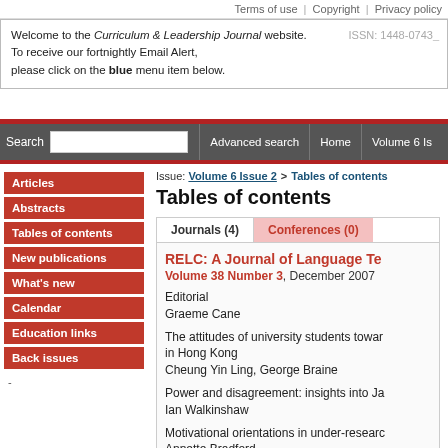Terms of use  |  Copyright  |  Privacy policy
Welcome to the Curriculum & Leadership Journal website.
To receive our fortnightly Email Alert,
please click on the blue menu item below.
ISSN: 1448-0743
Search  [search box]  Advanced search  Home  Volume 6 Is...
Articles
Abstracts
Tables of contents
New publications
What's new
Calendar
Education links
Back issues
Issue: Volume 6 Issue 2 > Tables of contents
Tables of contents
Journals (4)   Conferences (0)
RELC: A Journal of Language Te...
Volume 38 Number 3, December 2007
Editorial
Graeme Cane
The attitudes of university students towar... in Hong Kong
Cheung Yin Ling, George Braine
Power and disagreement: insights into Ja...
Ian Walkinshaw
Motivational orientations in under-researc...
Annette Bradford